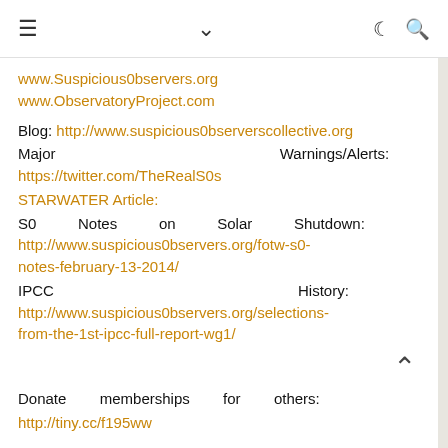≡  ∨  ☾ 🔍
www.Suspicious0bservers.org
www.ObservatoryProject.com
Blog: http://www.suspicious0bserverscollective.org
Major                         Warnings/Alerts:
https://twitter.com/TheRealS0s
STARWATER Article:
S0         Notes         on         Solar         Shutdown:
http://www.suspicious0bservers.org/fotw-s0-notes-february-13-2014/
IPCC                                                  History:
http://www.suspicious0bservers.org/selections-from-the-1st-ipcc-full-report-wg1/
Donate         memberships         for         others:
http://tiny.cc/f195ww